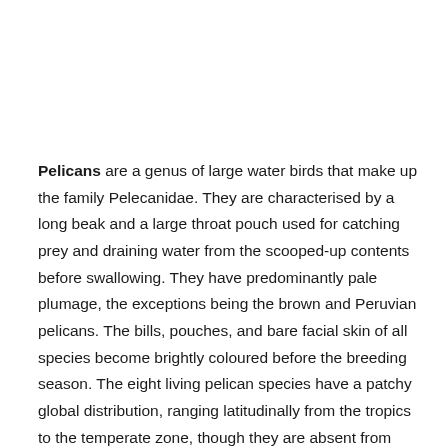Pelicans are a genus of large water birds that make up the family Pelecanidae. They are characterised by a long beak and a large throat pouch used for catching prey and draining water from the scooped-up contents before swallowing. They have predominantly pale plumage, the exceptions being the brown and Peruvian pelicans. The bills, pouches, and bare facial skin of all species become brightly coloured before the breeding season. The eight living pelican species have a patchy global distribution, ranging latitudinally from the tropics to the temperate zone, though they are absent from interior South America and from polar regions and the open ocean.